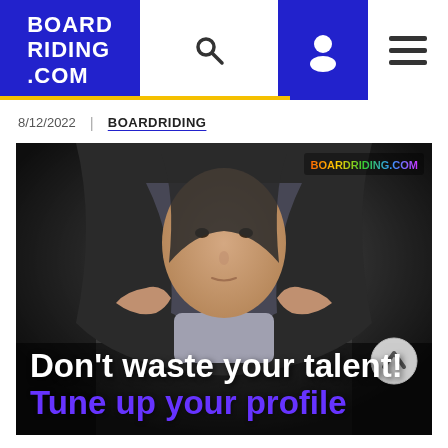BOARD RIDING .COM
8/12/2022 | BOARDRIDING
[Figure (photo): Young male teenager in a hoodie looking at camera with text overlay: Don't waste your talent! Tune up your profile. BOARDRIDING.COM watermark in top right.]